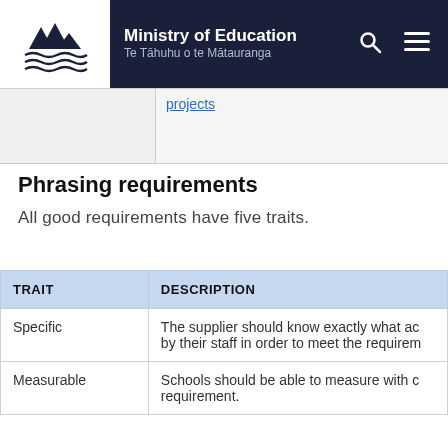Ministry of Education | Te Tāhuhu o te Mātauranga
| TRAIT | DESCRIPTION |
| --- | --- |
| Specific | The supplier should know exactly what actions need to be taken by their staff in order to meet the requirement. |
| Measurable | Schools should be able to measure with confidence that the requirement has been met by the supplier. requirement. |
Phrasing requirements
All good requirements have five traits.
| TRAIT | DESCRIPTION |
| --- | --- |
| Specific | The supplier should know exactly what ac... by their staff in order to meet the requirem... |
| Measurable | Schools should be able to measure with c... requirement. |